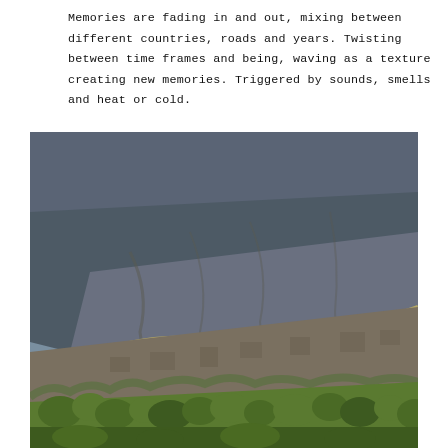Memories are fading in and out, mixing between different countries, roads and years. Twisting between time frames and being, waving as a texture creating new memories. Triggered by sounds, smells and heat or cold.
[Figure (photo): Aerial or distant photograph of a steep mountainside with exposed rocky cliffs, scrubby vegetation, and lush green trees in the lower foreground. The mountain face shows erosion patterns, with greenery at the bottom and darker rock and earth tones dominating the upper portions.]